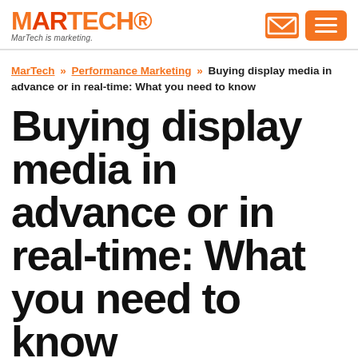MARTECH — MarTech is marketing.
MarTech » Performance Marketing » Buying display media in advance or in real-time: What you need to know
Buying display media in advance or in real-time: What you need to know
Where should you be investing your marketing resources? Columnist Grace Kaye explains the ins and outs of